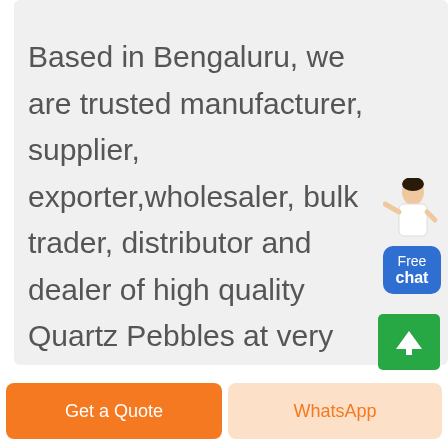Based in Bengaluru, we are trusted manufacturer, supplier, exporter,wholesaler, bulk trader, distributor and dealer of high quality Quartz Pebbles at very less price. We deal only in Tamil Nadu, Kerala, Telanga, Andhra Pradesh, Karnataka & other South Indian States only.
[Figure (illustration): Customer service person with Free chat button widget on right side]
[Figure (illustration): Green scroll-to-top button with upward arrow]
Get a Quote
WhatsApp